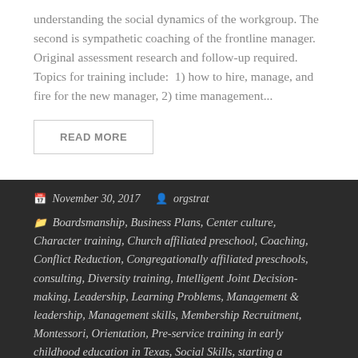understanding the social dynamics of the workgroup. The second is sympathetic coaching of the frontline manager. Original assessment research and follow-up required. Topics for training include:  1) how to hire, manage, and fire for the new manager, 2) time management...
READ MORE
November 30, 2017   orgstrat
Boardsmanship, Business Plans, Center culture, Character training, Church affiliated preschool, Coaching, Conflict Reduction, Congregationally affiliated preschools, consulting, Diversity training, Intelligent Joint Decision-making, Leadership, Learning Problems, Management & leadership, Management skills, Membership Recruitment, Montessori, Orientation, Pre-service training in early childhood education in Texas, Social Skills, starting a